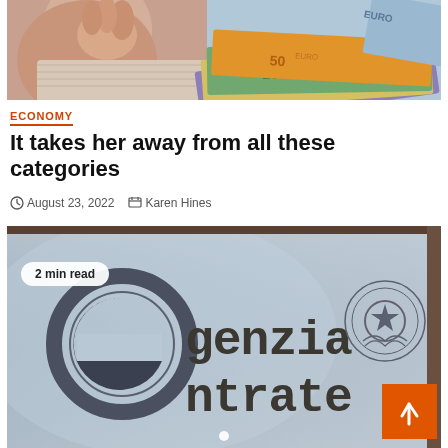[Figure (photo): Top image showing a person holding their head and Euro banknotes (50, 100, 200, 500 euro bills) fanned out on the right side]
ECONOMY
It takes her away from all these categories
August 23, 2022   Karen Hines
[Figure (photo): Photo of Agenzia Entrate (Italian Revenue Agency) glass door sign with the agency logo and Italian Republic emblem. A badge overlay reads '2 min read'. An orange scroll-to-top button appears in the bottom right corner.]